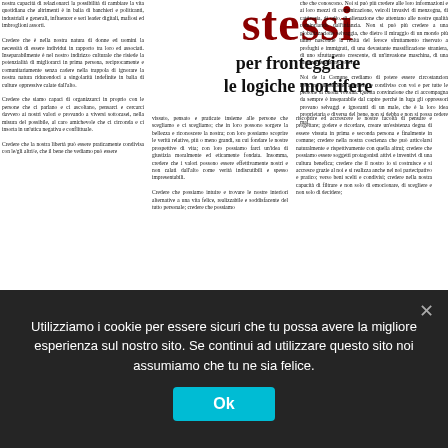stessi
per fronteggiare le logiche mortifere
nostra capacità di relazionarci la possibilità di cambiare la vita quotidiana che altrimenti è in balia di banchieri e politicanti, industriali e generali, influencer e seri leader digitali, mafiosi ed imbroglioni assortì. Credere che è nella nostra natura di donne ed uomini la necessità di essere individui in rapporto tra loro ed associati. Inseparabilmente è nel nostro indirizzo culturale che risiede la potenzialità di migliorarci in prima persona, reciprocamente e comunitariamente senza cadere nella trappola di ignorare la nostra natura riducendoci a singolarità indefinite in balia di culture oppressive calate dall'alto. Credere che siamo capaci di organizzarci in proprio con le persone che ci parlano e ci ascoltano, pensarci e cercarci davvero ai nostri valori e provando a viversi sottocasei, nella misura del possibile, al caro amichevole che ci circonda e ci insorta in un'utica negativa e conflittuale. Credere che la nostra libertà può essere praticamente condivisa con le/gli altri/e, che il bene che vediamo può essere
vissuto, pensato e praticate insieme alle persone che scegliamo e ci scegliamo; che in loro possono sorgere la bellezza e riconoscere la nostra; con loro possiamo scoprire le verità relative, più o meno grandi, su cui fondare le nostre prospettive di vita; con loro possiamo farci un'idea di giustizia moralmente ed eticamente fondata. Insomma, credere che i valori possono essere effettivamente nostri e non calati dall'alto come verità indiscutibili e spesso impresentabili.

Credere che possiamo intuire e trovare le nostre interiori alternative a una vita felice, realizzabile e soddisfacente del tutto personale; credere che possiamo
riscoprire ed accrescere le nostre facoltà di pensare e progettare; godere e ricordare, creare un'esistenza degna di essere vissuta in prima e seconda persona e finalmente in comune; credere nella nostra coscienza che può articolarsi naturalmente e rispettivamente con quella altrui; credere che possiamo essere soggetti protagonisti attivi e inventivi di una cultura benefica; credere che il nostro io si costruisce e si accresce grazie al noi e si realizza anche nel noi partecipativo e pratico; verso beni scelti e condivisi; credere nella nostra capacità di filtrare e non solo di emocionare, di scegliere e non solo di decidere;
credere nella primariamente femminile come motivo naturalmente ed ottimamente crettamente di una potenzialità per entrambi i generi e quindi per ogni donna ed uomo nell'irriducibile peculiarità di ciascuna/o.

Credere la noi stessi perché non si può più credere ai signori della guerra che seminano morte e distruzione perpetuando il loro potere oppressivo nel suo carattere bellico permissivo che rende la nostra quotidianità sempre più difficile sa tutti i piani. Non si può più credere ai loro sindaci, Il d'azionali, autoritari e democratici come quello artistano vero e proprio tragedia per le donne cui
che che conoscono. Noi si può più credere alle loro informazioni e ai loro mezzi di comunicazione, veicoli invasivi di menzogna, di cattiveria, di odio, di alienazione che attentano alle nostre qualità cominciando dall'infanzia. Non si può più credere a una globalizzazione selvaggia, che dietro il miraggio di un mondo più unito nasconde la realtà del feroce sfruttamento riservato a profughi e immigrati, di una devastante massificazione straniera, di uno sfruttamento crescente, di un'invasione maschina, di una disumanizzazione vorace.

Noi de la Comune crediamo di potere essere circostanzion rosicano di un bene autentico e condiviso con voi e per tutte le persone di buona volontà. Questa convinzione che ci accompagna da sempre è inseparabile dal capire perché in luga gli oppressori provano selvaggi e ignoranti di un male, che è la loro idea proprietaria e diversa del bene, non si debba e non si possa cedere mai.
LA COMUNE
26 giugno 2022 •
CONVEGNO INTERNAZIONALE
20-24 luglio 2022 • Casa della Cultura Vallormbosa (FO)
loGICHE a pag. 3 • la forza della vita.
che pag. 7-9
un esperimento
Utilizziamo i cookie per essere sicuri che tu possa avere la migliore esperienza sul nostro sito. Se continui ad utilizzare questo sito noi assumiamo che tu ne sia felice.
Ok